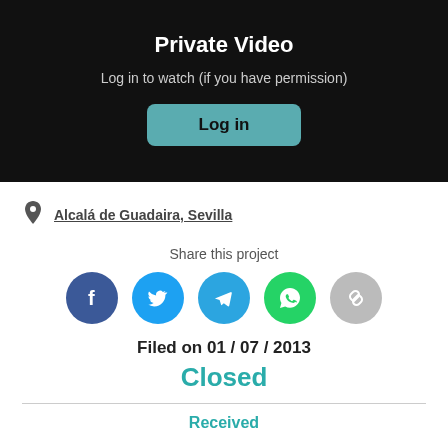Private Video
Log in to watch (if you have permission)
Log in
Alcalá de Guadaira, Sevilla
Share this project
[Figure (infographic): Social sharing icons: Facebook (dark blue), Twitter (light blue), Telegram (blue), WhatsApp (green), Link (gray)]
Filed on 01 / 07 / 2013
Closed
Received